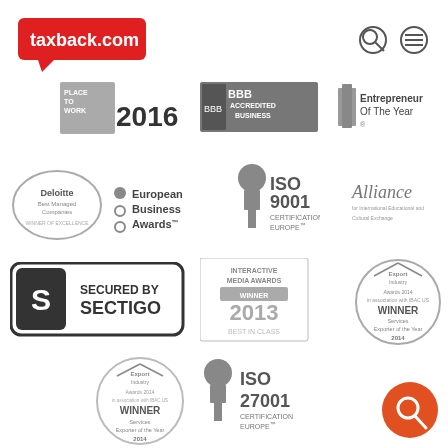[Figure (logo): taxback.com logo in red with speech bubble arrow]
[Figure (logo): Search icon and menu icon circles (gray outlines)]
[Figure (logo): Best Place To Work 2016 badge]
[Figure (logo): BBB Accredited Business badge]
[Figure (logo): Entrepreneur Of The Year badge]
[Figure (logo): Deloitte Best Managed Companies badge]
[Figure (logo): European Business Awards logo]
[Figure (logo): ISO 9001 Certification Europe badge]
[Figure (logo): Alliance for International Educational and Cultural Exchange logo]
[Figure (logo): Secured by Sectigo badge]
[Figure (logo): Interactive Media Awards Winner 2013 Best In Class badge]
[Figure (logo): Export Industry Awards 2014 Winner Services Exporter of the Year badge]
[Figure (logo): Export Industry Awards 2014 Winner Services Exporter of the Year badge (smaller)]
[Figure (logo): ISO 27001 Certification Europe badge]
[Figure (logo): Orange circle chat/search icon bottom right]